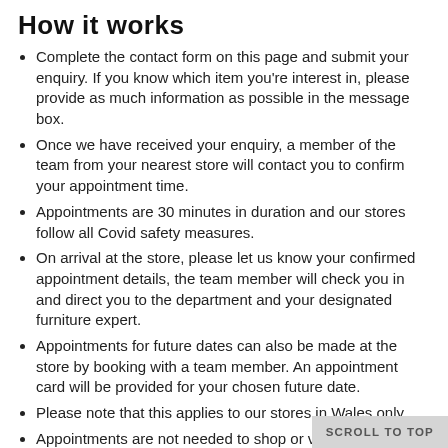How it works
Complete the contact form on this page and submit your enquiry. If you know which item you're interest in, please provide as much information as possible in the message box.
Once we have received your enquiry, a member of the team from your nearest store will contact you to confirm your appointment time.
Appointments are 30 minutes in duration and our stores follow all Covid safety measures.
On arrival at the store, please let us know your confirmed appointment details, the team member will check you in and direct you to the department and your designated furniture expert.
Appointments for future dates can also be made at the store by booking with a team member. An appointment card will be provided for your chosen future date.
Please note that this applies to our stores in Wales only.
Appointments are not needed to shop or view garden furniture.
SCROLL TO TOP